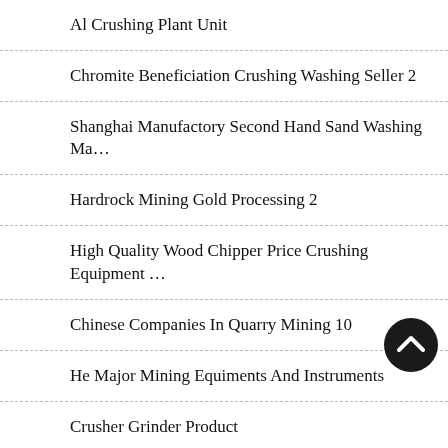Al Crushing Plant Unit
Chromite Beneficiation Crushing Washing Seller 2
Shanghai Manufactory Second Hand Sand Washing Ma…
Hardrock Mining Gold Processing 2
High Quality Wood Chipper Price Crushing Equipment …
Chinese Companies In Quarry Mining 10
He Major Mining Equiments And Instruments
Crusher Grinder Product
Binani Cement Grinding Unit
Hard Mining Iron Crushing …